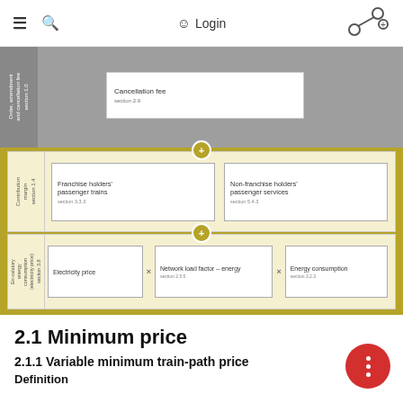≡  🔍  Login  [nav icon]
[Figure (flowchart): Flowchart showing pricing components: top grey section with 'Cancellation fee section 2.9', contribution margin section with 'Franchise holders' passenger trains section 3.3.3' and 'Non-franchise holders' passenger services section 5.4.3', and energy consumption section with 'Electricity price' × 'Network load factor – energy section 2.5.5' × 'Energy consumption section 2.2.3'. Labels on left: 'Order, amendment and cancellation … section 1.0', 'Contribution margin section 1.4', 'En-calatory energy consumption (electricity price) section 3.8']
2.1 Minimum price
2.1.1 Variable minimum train-path price
Definition